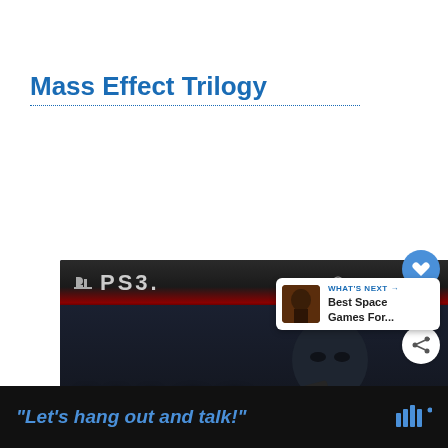Mass Effect Trilogy
[Figure (photo): Mass Effect Trilogy PS3 game box cover art featuring Commander Shepard character with Mass Effect Trilogy logo, PS3 branding and PlayStation Network logo at top]
WHAT'S NEXT → Best Space Games For...
"Let's hang out and talk!"